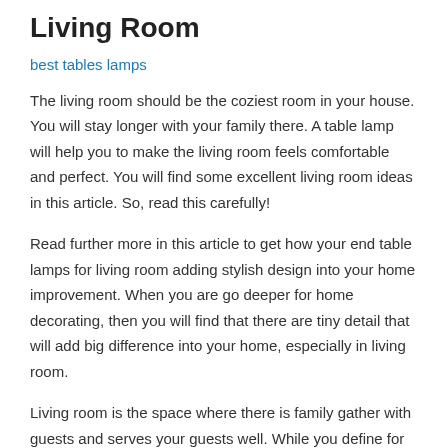Living Room
best tables lamps
The living room should be the coziest room in your house. You will stay longer with your family there. A table lamp will help you to make the living room feels comfortable and perfect. You will find some excellent living room ideas in this article. So, read this carefully!
Read further more in this article to get how your end table lamps for living room adding stylish design into your home improvement. When you are go deeper for home decorating, then you will find that there are tiny detail that will add big difference into your home, especially in living room.
Living room is the space where there is family gather with guests and serves your guests well. While you define for the style, living room theme and the color scheme for living room, then lighting is the one preferred sets that can add mood for your living room and